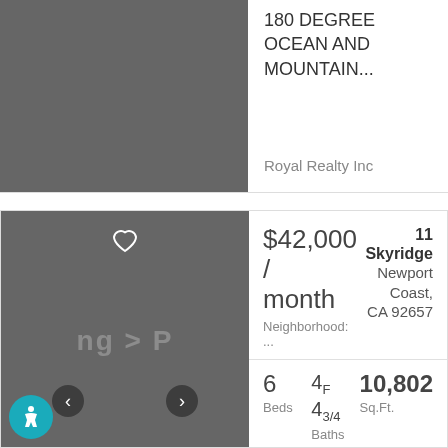[Figure (photo): Dark grey placeholder image for a real estate property listing (top card)]
180 DEGREE OCEAN AND MOUNTAIN...
Royal Realty Inc
[Figure (photo): Dark grey property photo with heart icon, navigation arrows, and accessibility button overlay. Text 'ng > P' visible as partial watermark.]
$42,000 / month
Neighborhood: ...
11 Skyridge
Newport Coast, CA 92657
6 Beds  4F 43/4 Baths  10,802 Sq.Ft.
2000 Year Built  45 Days on Site  OC22066697 MLS
Located on the top of the hill with breathtaking canyon and peek a boo ocean views. 6 bedroom, 10 bathroom and 7 car garage in the